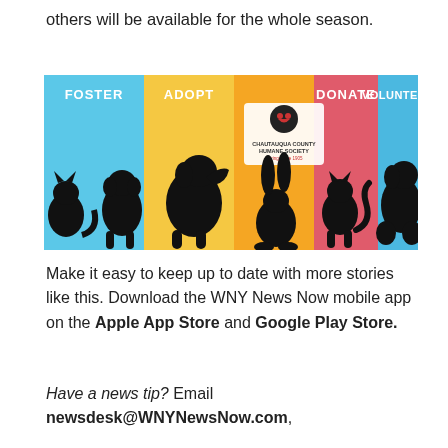others will be available for the whole season.
[Figure (illustration): Chautauqua County Humane Society banner with silhouettes of animals (cat, dog, large dog, rabbit, cat, dog) on colored sections (blue, yellow, orange, red, blue) with labels: FOSTER, ADOPT, DONATE, VOLUNTEER and the organization logo and tagline 'Caring Since 1905']
Make it easy to keep up to date with more stories like this. Download the WNY News Now mobile app on the Apple App Store and Google Play Store.
Have a news tip? Email newsdesk@WNYNewsNow.com,